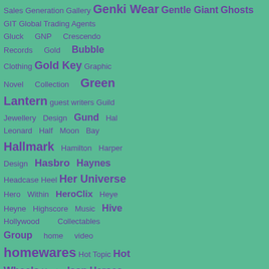Sales Generation Gallery Genki Wear Gentle Giant Ghosts GIT Global Trading Agents Gluck GNP Crescendo Records Gold Bubble Clothing Gold Key Graphic Novel Collection Green Lantern guest writers Guild Jewellery Design Gund Hal Leonard Half Moon Bay Hallmark Hamilton Harper Design Hasbro Haynes Headcase Heel Her Universe Hero Within HeroClix Heye Heyne Highscore Music Hive Hollywood Collectables Group home video homewares Hot Topic Hot Wheels Hunter Icon Heroes Iconic LE Icup IDW IDW Limited IGT Infestation Insight Editions
Newer Post
[Figure (other): Social media follow icons: Facebook, Twitter, Instagram, Pinterest with Follow label]
[Figure (other): Beam Up Star Trek promotional banner - black background with BEAM UP and STAR TREK text]
[Figure (other): Bottom bar with Support me (Ko-fi) button and social share buttons for Twitter, Pinterest, Tumblr, Email. SHARES label visible.]